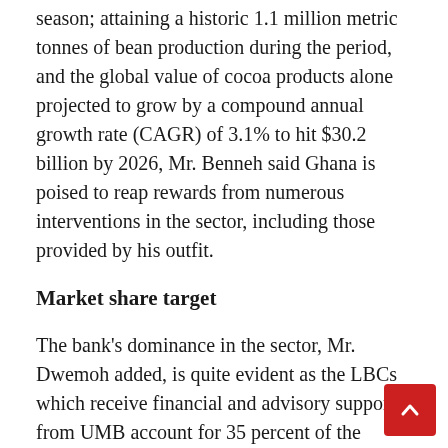season; attaining a historic 1.1 million metric tonnes of bean production during the period, and the global value of cocoa products alone projected to grow by a compound annual growth rate (CAGR) of 3.1% to hit $30.2 billion by 2026, Mr. Benneh said Ghana is poised to reap rewards from numerous interventions in the sector, including those provided by his outfit.
Market share target
The bank's dominance in the sector, Mr. Dwemoh added, is quite evident as the LBCs which receive financial and advisory support from UMB account for 35 percent of the market, a rate, he said, will grow to a “minimum of 50 percent in the medium term.”
Continuing further, he explained that UMB’s suite of financing options now caters to every point of the value chain from haulage logistics, warehousing,